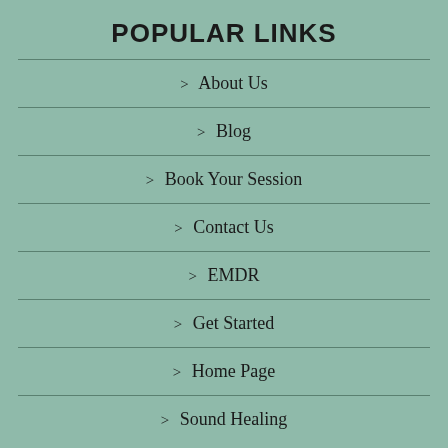POPULAR LINKS
> About Us
> Blog
> Book Your Session
> Contact Us
> EMDR
> Get Started
> Home Page
> Sound Healing